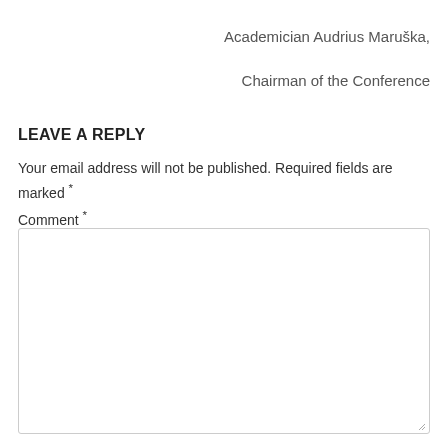Academician Audrius Maruška,
Chairman of the Conference
LEAVE A REPLY
Your email address will not be published. Required fields are marked *
Comment *